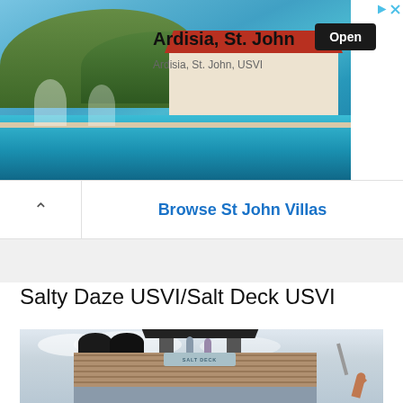[Figure (photo): Advertisement banner showing a villa with infinity pool in St. John USVI, with title 'Ardisia, St. John', subtitle 'Ardisia, St. John, USVI', and an Open button]
Browse St John Villas
Salty Daze USVI/Salt Deck USVI
[Figure (photo): Photo of the Salt Deck USVI boat/floating deck with wooden structure, SALT DECK sign, dark roof canopy, people on deck, and a person jumping off into the water]